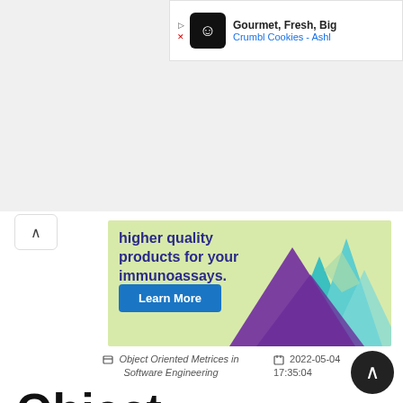[Figure (screenshot): Top ad bar showing Crumbl Cookies advertisement with logo, text 'Gourmet, Fresh, Big' and 'Crumbl Cookies - Ashl' in blue]
[Figure (illustration): Advertisement banner with green/lime background showing mountains (purple foreground, teal background), text 'higher quality products for your immunoassays.' in dark blue, and a blue 'Learn More' button]
Object Oriented Metrices in Software Engineering   2022-05-04 17:35:04
Object Oriented Metrices in Software Engineering